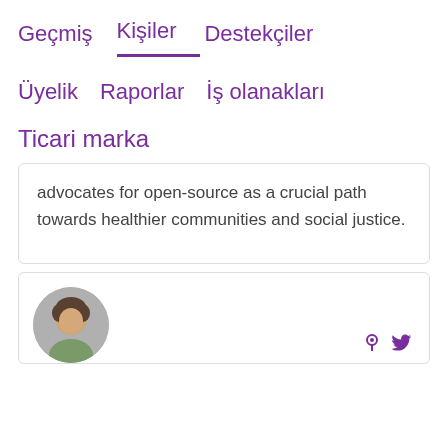Geçmiş    Kişiler    Destekçiler
Üyelik    Raporlar    İş olanakları
Ticari marka
advocates for open-source as a crucial path towards healthier communities and social justice.
[Figure (photo): Circular avatar photo of a person, partially visible at bottom of page, with purple social media icons to the right]